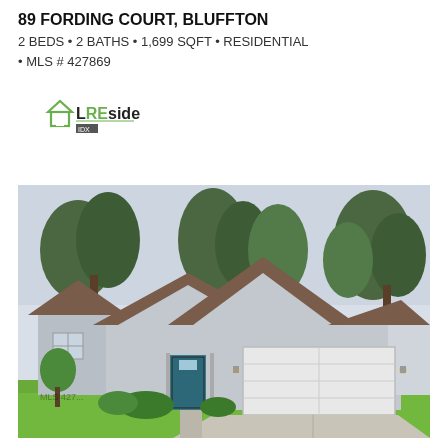89 FORDING COURT, BLUFFTON
2 BEDS • 2 BATHS • 1,699 SQFT • RESIDENTIAL
• MLS # 427869
[Figure (logo): LREsides MLS logo with green house icon]
[Figure (photo): Exterior photo of a single-story residential home with gray siding, brown shingle roof with two gables, white two-car garage door, teal front door, manicured green lawn, and trees in background]